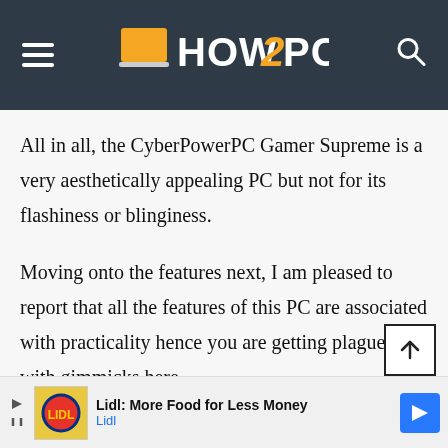HOW2PC
All in all, the CyberPowerPC Gamer Supreme is a very aesthetically appealing PC but not for its flashiness or blinginess.
Moving onto the features next, I am pleased to report that all the features of this PC are associated with practicality hence you are getting plagued with gimmicks here.
Lidl: More Food for Less Money Lidl